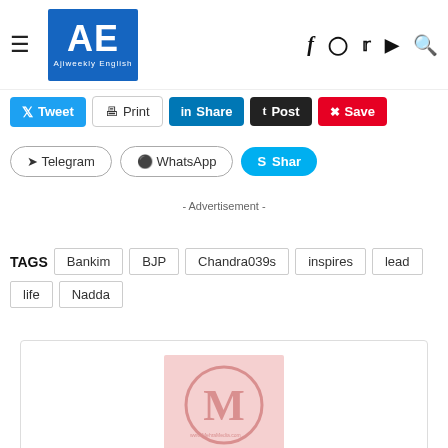AE Ajiweekly English
Tweet | Print | Share | Post | Save
Telegram | WhatsApp | Shar
- Advertisement -
TAGS  Bankim  BJP  Chandra039s  inspires  lead  life  Nadda
Mehra Media Team